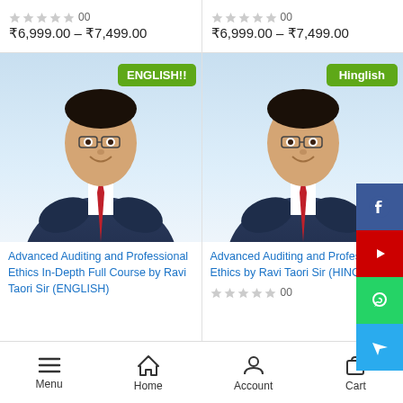₹6,999.00 – ₹7,499.00
₹6,999.00 – ₹7,499.00
[Figure (photo): Instructor in navy suit with arms crossed, ENGLISH!! badge, for Advanced Auditing and Professional Ethics In-Depth Full Course by Ravi Taori Sir (ENGLISH)]
Advanced Auditing and Professional Ethics In-Depth Full Course by Ravi Taori Sir (ENGLISH)
[Figure (photo): Instructor in navy suit with arms crossed, Hinglish badge, for Advanced Auditing and Professional Ethics by Ravi Taori Sir (HINGLISH), with social media sidebar (Facebook, YouTube, WhatsApp, Telegram)]
Advanced Auditing and Professional Ethics by Ravi Taori Sir (HINGLISH)